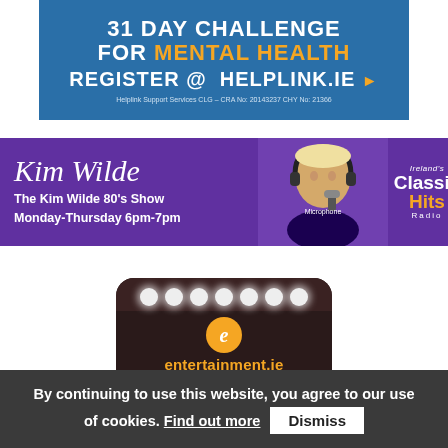[Figure (infographic): Helplink 31 Day Challenge for Mental Health banner. Blue background with text: '31 DAY CHALLENGE FOR MENTAL HEALTH REGISTER @ HELPLINK.IE' with orange arrow. Small text: 'Helplink Support Services CLG – CRA No: 20143237 CHY No: 21366']
[Figure (infographic): Kim Wilde Classic Hits Radio banner. Purple background. Left side shows 'Kim Wilde' in italic script, 'The Kim Wilde 80's Show Monday-Thursday 6pm-7pm'. Center shows photo of Kim Wilde with headphones at microphone. Right shows 'Ireland's Classic Hits Radio' logo.]
[Figure (logo): entertainment.ie news & events logo on dark background with stage lights and crowd silhouette. Orange 'e' speech bubble icon above orange text 'entertainment.ie' and white text 'news & events'.]
By continuing to use this website, you agree to our use of cookies. Find out more  Dismiss